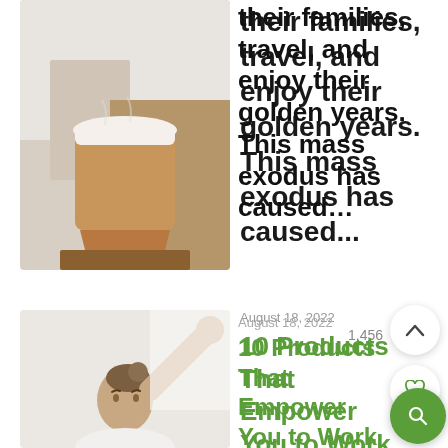[Figure (photo): Photo of a coffee cup with white lid on a wooden surface with white bedding in background]
their families, travel, and enjoy their golden years. This mass exodus has caused...
August 18, 2022
10 Products That Empower You to Work Remotely Effectively
[Figure (photo): Photo of a woman with her hair up reaching toward a white wall]
It's not news to anyone that remote
work is becoming